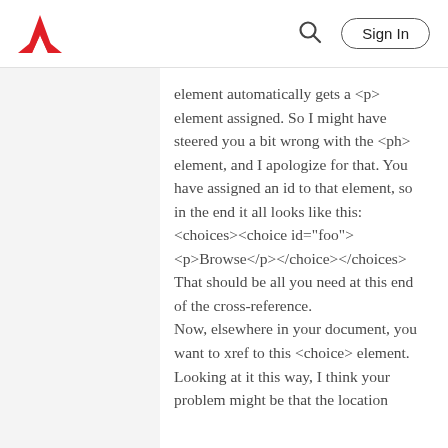Adobe
element automatically gets a <p> element assigned. So I might have steered you a bit wrong with the <ph> element, and I apologize for that. You have assigned an id to that element, so in the end it all looks like this: <choices><choice id="foo"> <p>Browse</p></choice></choices> That should be all you need at this end of the cross-reference.
Now, elsewhere in your document, you want to xref to this <choice> element. Looking at it this way, I think your problem might be that the location